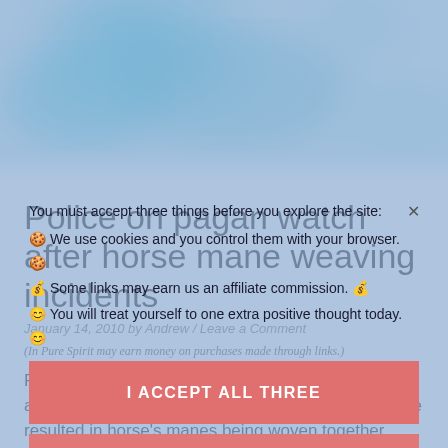[Figure (photo): Teal and white watercolor smoke/cloud texture hero image at top of article page]
Police on pagan watch after horse mane weaving incidents
January 14, 2010 by Andrew / Leave a Comment
(In Pure Spirit may earn money on purchases made through links.)
Police in the UK are suggesting that white witches are responsible for a number of incidents which have resulted in horse's manes being woven together…
You must accept three things before you explore the site: We use cookies and you control them with your browser. Some links may earn us an affiliate commission. You will treat yourself to one extra positive thought today.
I ACCEPT ALL THREE
PRIVACY POLICY